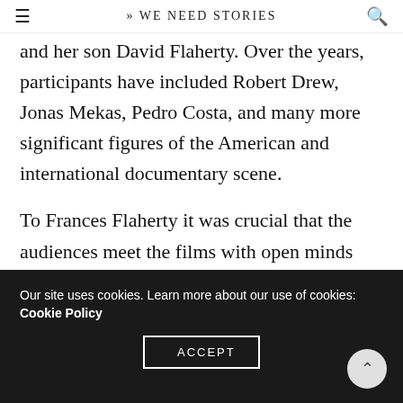» WE NEED STORIES
and her son David Flaherty. Over the years, participants have included Robert Drew, Jonas Mekas, Pedro Costa, and many more significant figures of the American and international documentary scene.
To Frances Flaherty it was crucial that the audiences meet the films with open minds and without any preconceptions – a notion crucial to documentary itself, where we have to be open to the fact that the reality we meet might surprise us, confuse and complicate our preconceptions and herein lies the
Our site uses cookies. Learn more about our use of cookies: Cookie Policy
ACCEPT